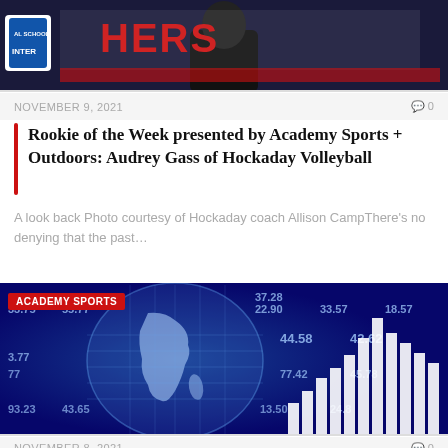[Figure (photo): Person standing at a podium with a banner behind them, partially visible text 'HERS' in red on white banner; school logo visible on left]
NOVEMBER 9, 2021   ⌂0
Rookie of the Week presented by Academy Sports + Outdoors: Audrey Gass of Hockaday Volleyball
A look back Photo courtesy of Hockaday coach Allison CampThere's no denying that the past…
[Figure (photo): Finance/stock market themed image with globe graphic, financial data numbers overlaid, white bar chart rising on right side; 'ACADEMY SPORTS' badge in red top left]
NOVEMBER 8, 2021   ⌂0